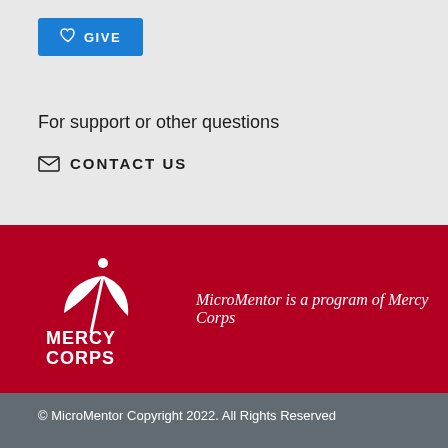[Figure (other): Blue GIVE button with heart icon]
For support or other questions
CONTACT US
[Figure (logo): Mercy Corps logo - white leaf/person icon with MERCY CORPS text below]
MicroMentor is a program of Mercy Corps
© MicroMentor Copyright 2022. All Rights Reserved